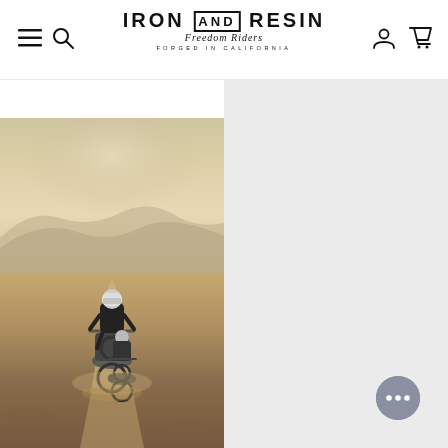[Figure (logo): Iron and Resin logo - Freedom Riders, Forged in California]
[Figure (photo): Two motorcycle riders on dirt trail in dusty hilly terrain, warm golden light]
[Figure (screenshot): Right panel showing light gray product/content area, partially visible]